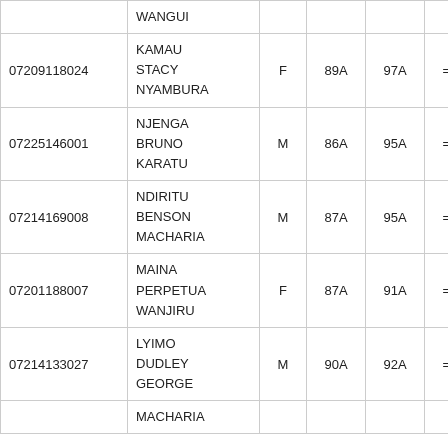| ID | Name | G | S1 | S2 | EQ | S3 | S4 |
| --- | --- | --- | --- | --- | --- | --- | --- |
|  | WANGUI |  |  |  |  |  |  |
| 07209118024 | KAMAU STACY NYAMBURA | F | 89A | 97A | = = | 83A | 76A |
| 07225146001 | NJENGA BRUNO KARATU | M | 86A | 95A | = = | 82A | 76A |
| 07214169008 | NDIRITU BENSON MACHARIA | M | 87A | 95A | = = | 83A | 80A |
| 07201188007 | MAINA PERPETUA WANJIRU | F | 87A | 91A | = = | 82A | 82A |
| 07214133027 | LYIMO DUDLEY GEORGE | M | 90A | 92A | = = | 85A | 80A |
|  | MACHARIA |  |  |  |  |  |  |